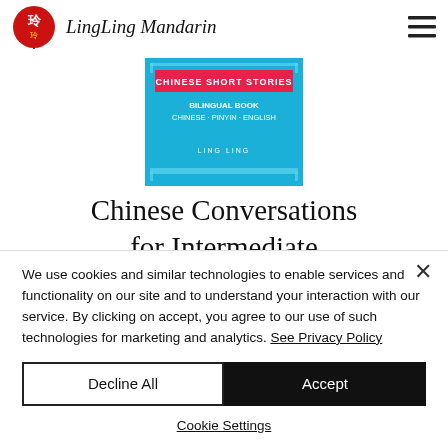LingLing Mandarin
[Figure (illustration): Book cover for Chinese Short Stories - Bilingual Book Chinese Pinyin English by Ling Ling, blue cover]
Chinese Conversations for Intermediate
Are you ready to take the next step on your
We use cookies and similar technologies to enable services and functionality on our site and to understand your interaction with our service. By clicking on accept, you agree to our use of such technologies for marketing and analytics. See Privacy Policy
Decline All
Accept
Cookie Settings